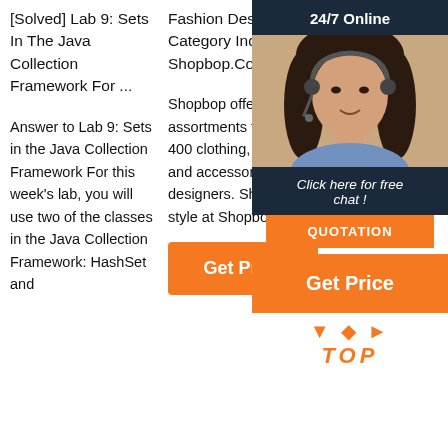[Solved] Lab 9: Sets In The Java Collection Framework For ...
Answer to Lab 9: Sets in the Java Collection Framework For this week's lab, you will use two of the classes in the Java Collection Framework: HashSet and
Fashion Designer Category Index - Shopbop.Com
Shopbop offers assortments from over 400 clothing, shoe, and accessory designers. Shop your style at Shopbop.com!
[Figure (other): Orange Get Price button]
Welcome To Butler County Recorders
[Figure (infographic): Live chat widget with agent photo, 24/7 Online header, Click here for free chat, QUOTATION button, Get Price button, and TOP badge with orange dots]
Li...